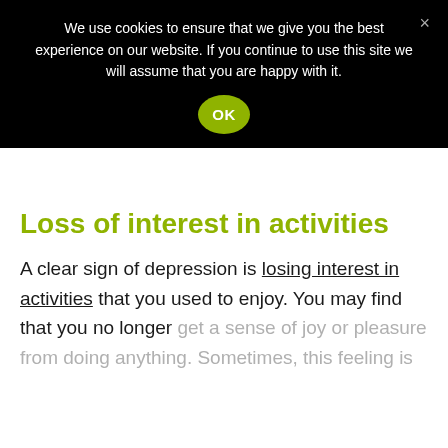We use cookies to ensure that we give you the best experience on our website. If you continue to use this site we will assume that you are happy with it.
Loss of interest in activities
A clear sign of depression is losing interest in activities that you used to enjoy. You may find that you no longer get a sense of joy or pleasure from doing anything. Sometimes, this feeling is